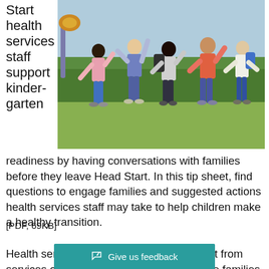Start health services staff support kindergarten readiness by having conversations with families before they leave Head Start. In this tip sheet, find questions to engage families and suggested actions health services staff may take to help children make a healthy transition.
[Figure (photo): Group of young children with backpacks jumping and celebrating outdoors on a grassy area with trees in the background.]
Download the PDF [PDF, 69KB]
Health services at schools may be different from services offered by Head Start. We prepare families for the transition to kin... ...uestions